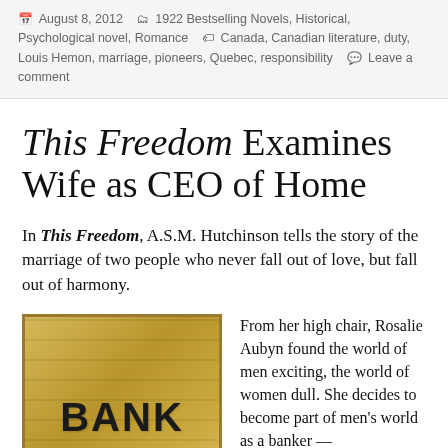August 8, 2012  1922 Bestselling Novels, Historical, Psychological novel, Romance  Canada, Canadian literature, duty, Louis Hemon, marriage, pioneers, Quebec, responsibility  Leave a comment
This Freedom Examines Wife as CEO of Home
In This Freedom, A.S.M. Hutchinson tells the story of the marriage of two people who never fall out of love, but fall out of harmony.
[Figure (photo): A golden bank sign reading BANK on a textured gold/brass background with horizontal stripe pattern]
From her high chair, Rosalie Aubyn found the world of men exciting, the world of women dull. She decides to become part of men's world as a banker —